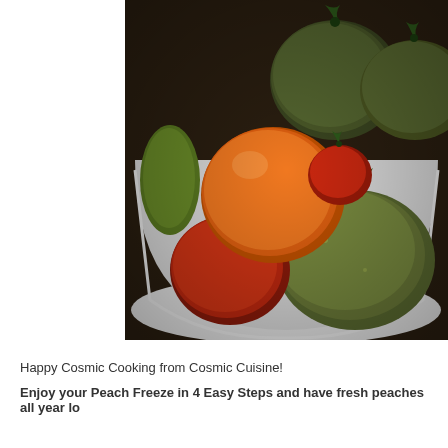[Figure (photo): Photo of various heirloom tomatoes in different colors (orange, red, dark green/brown) arranged in a white colander or bowl, viewed from above]
Happy Cosmic Cooking from Cosmic Cuisine!
Enjoy your Peach Freeze in 4 Easy Steps and have fresh peaches all year lo...